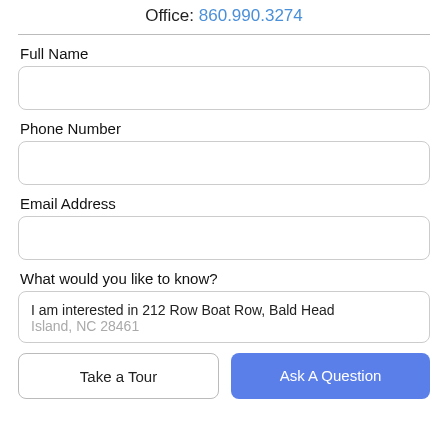Office: 860.990.3274
Full Name
Phone Number
Email Address
What would you like to know?
I am interested in 212 Row Boat Row, Bald Head Island, NC 28461
Take a Tour
Ask A Question